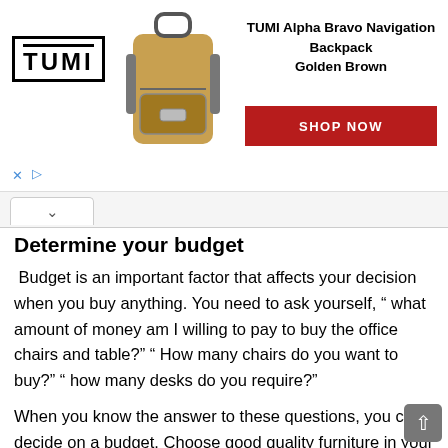[Figure (infographic): TUMI advertisement banner featuring a backpack image, TUMI logo, product name 'TUMI Alpha Bravo Navigation Backpack Golden Brown', and a red 'SHOP NOW' button]
Determine your budget
Budget is an important factor that affects your decision when you buy anything. You need to ask yourself, “ what amount of money am I willing to pay to buy the office chairs and table?” “ How many chairs do you want to buy?” “ how many desks do you require?”
When you know the answer to these questions, you can decide on a budget. Choose good quality furniture in your budget that gives you a high value for money.